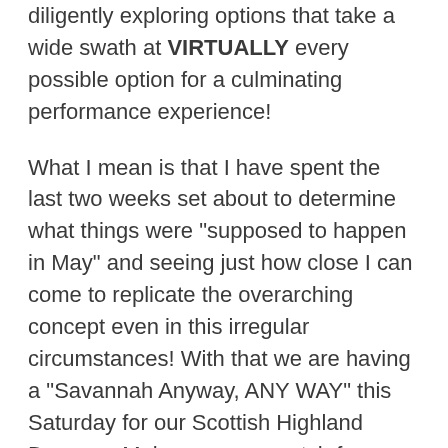diligently exploring options that take a wide swath at VIRTUALLY every possible option for a culminating performance experience!
What I mean is that I have spent the last two weeks set about to determine what things were "supposed to happen in May" and seeing just how close I can come to replicate the overarching concept even in this irregular circumstances! With that we are having a "Savannah Anyway, ANY WAY" this Saturday for our Scottish Highland Dancers. Make sure you watch for email details if you are a current student in a Highland class at CDPA.
We will be hosting a CDPA SPIRIT